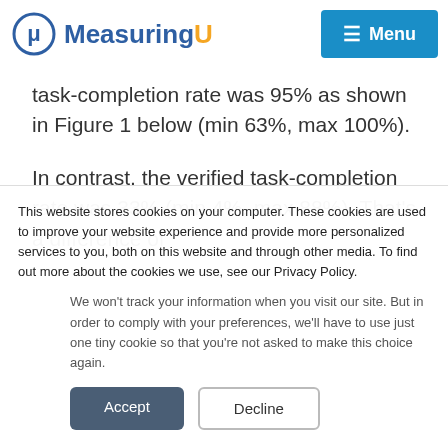MeasuringU — Menu
task-completion rate was 95% as shown in Figure 1 below (min 63%, max 100%).
In contrast, the verified task-completion rate was 33% (min 4%, max 88%). That's a difference of
This website stores cookies on your computer. These cookies are used to improve your website experience and provide more personalized services to you, both on this website and through other media. To find out more about the cookies we use, see our Privacy Policy.
We won't track your information when you visit our site. But in order to comply with your preferences, we'll have to use just one tiny cookie so that you're not asked to make this choice again.